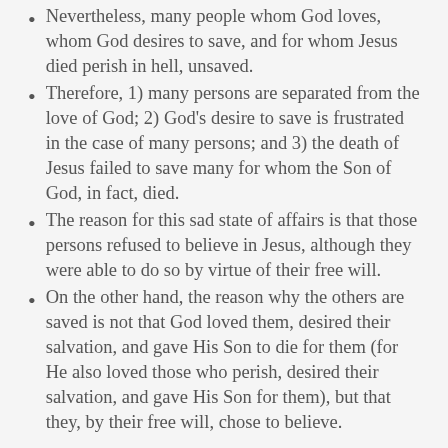Nevertheless, many people whom God loves, whom God desires to save, and for whom Jesus died perish in hell, unsaved.
Therefore, 1) many persons are separated from the love of God; 2) God's desire to save is frustrated in the case of many persons; and 3) the death of Jesus failed to save many for whom the Son of God, in fact, died.
The reason for this sad state of affairs is that those persons refused to believe in Jesus, although they were able to do so by virtue of their free will.
On the other hand, the reason why the others are saved is not that God loved them, desired their salvation, and gave His Son to die for them (for He also loved those who perish, desired their salvation, and gave His Son for them), but that they, by their free will, chose to believe.